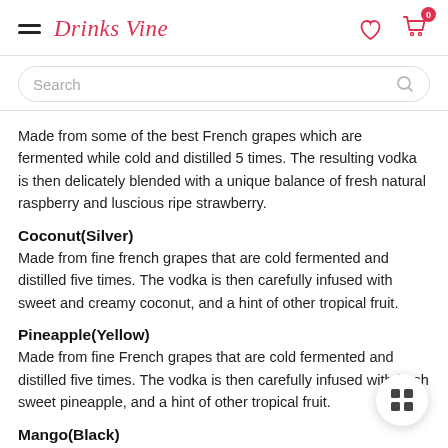Drinks Vine
Made from some of the best French grapes which are fermented while cold and distilled 5 times. The resulting vodka is then delicately blended with a unique balance of fresh natural raspberry and luscious ripe strawberry.
Coconut(Silver)
Made from fine french grapes that are cold fermented and distilled five times. The vodka is then carefully infused with sweet and creamy coconut, and a hint of other tropical fruit.
Pineapple(Yellow)
Made from fine French grapes that are cold fermented and distilled five times. The vodka is then carefully infused with fresh sweet pineapple, and a hint of other tropical fruit.
Mango(Black)
After the extraction, fermentation and distilling the juice from the grapes into vodka, The vodka is infused with a unique blend of